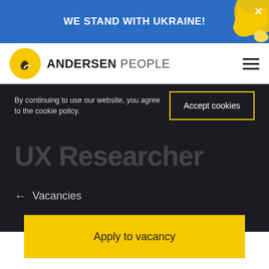WE STAND WITH UKRAINE!
[Figure (logo): Andersen People logo with yellow circular icon and hamburger menu]
By continuing to use our website, you agree to the cookie policy.
Accept cookies
UX Researcher
← Vacancies
Apply to vacancy